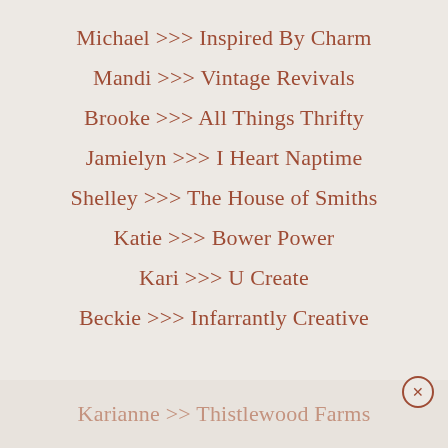Michael >>> Inspired By Charm
Mandi >>> Vintage Revivals
Brooke >>> All Things Thrifty
Jamielyn >>> I Heart Naptime
Shelley >>> The House of Smiths
Katie >>> Bower Power
Kari >>> U Create
Beckie >>> Infarrantly Creative
Karianne >>> Thistlewood Farms